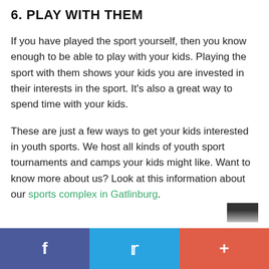6. PLAY WITH THEM
If you have played the sport yourself, then you know enough to be able to play with your kids. Playing the sport with them shows your kids you are invested in their interests in the sport. It's also a great way to spend time with your kids.
These are just a few ways to get your kids interested in youth sports. We host all kinds of youth sport tournaments and camps your kids might like. Want to know more about us? Look at this information about our sports complex in Gatlinburg.